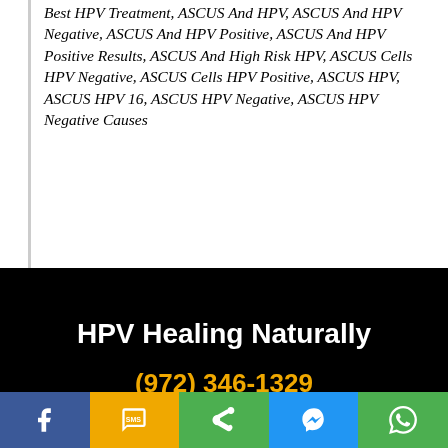Best HPV Treatment, ASCUS And HPV, ASCUS And HPV Negative, ASCUS And HPV Positive, ASCUS And HPV Positive Results, ASCUS And High Risk HPV, ASCUS Cells HPV Negative, ASCUS Cells HPV Positive, ASCUS HPV, ASCUS HPV 16, ASCUS HPV Negative, ASCUS HPV Negative Causes
HPV Healing Naturally
(972) 346-1329
[Figure (infographic): Social media sharing bar with Facebook, SMS, Share, Messenger, and WhatsApp buttons]